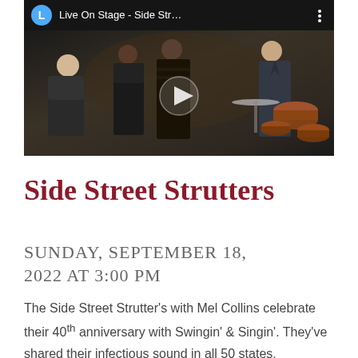[Figure (screenshot): YouTube video thumbnail showing a band performing live on stage. The video bar at top shows a blue circle with 'L', title 'Live On Stage - Side Str...' and a three-dot menu. A play button is centered over the dark image of multiple musicians including people at a drum kit.]
Side Street Strutters
SUNDAY, SEPTEMBER 18, 2022 AT 3:00 PM
The Side Street Strutter's with Mel Collins celebrate their 40th anniversary with Swingin' & Singin'. They've shared their infectious sound in all 50 states, entertaining